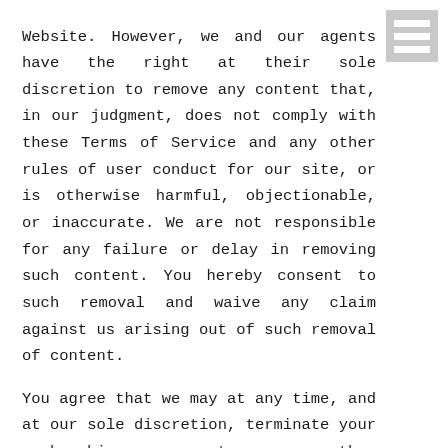Website. However, we and our agents have the right at their sole discretion to remove any content that, in our judgment, does not comply with these Terms of Service and any other rules of user conduct for our site, or is otherwise harmful, objectionable, or inaccurate. We are not responsible for any failure or delay in removing such content. You hereby consent to such removal and waive any claim against us arising out of such removal of content.

You agree that we may at any time, and at our sole discretion, terminate your membership, account, or other affiliation